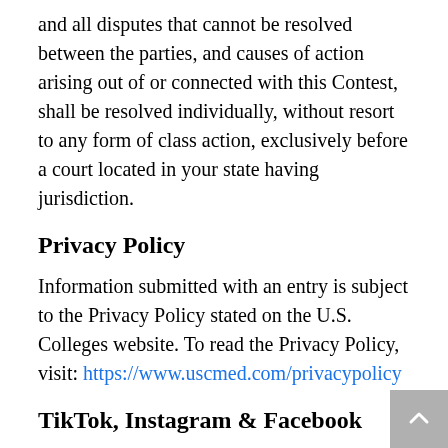and all disputes that cannot be resolved between the parties, and causes of action arising out of or connected with this Contest, shall be resolved individually, without resort to any form of class action, exclusively before a court located in your state having jurisdiction.
Privacy Policy
Information submitted with an entry is subject to the Privacy Policy stated on the U.S. Colleges website. To read the Privacy Policy, visit: https://www.uscmed.com/privacypolicy
TikTok, Instagram & Facebook
U.S. Colleges may utilize TikTok, Instagram, and Facebook to promote sweepstakes or contests. The Participants acknowledge and